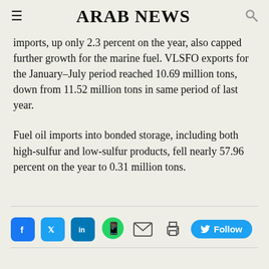ARAB NEWS
imports, up only 2.3 percent on the year, also capped further growth for the marine fuel. VLSFO exports for the January–July period reached 10.69 million tons, down from 11.52 million tons in same period of last year.
Fuel oil imports into bonded storage, including both high-sulfur and low-sulfur products, fell nearly 57.96 percent on the year to 0.31 million tons.
[Figure (other): Social media share bar with Facebook, Twitter, LinkedIn, WhatsApp, email, print icons and a Twitter Follow button]